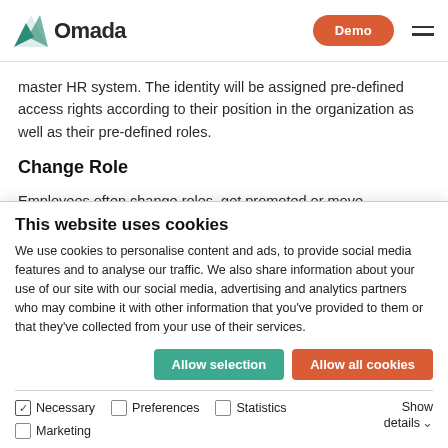Omada — Demo navigation
master HR system. The identity will be assigned pre-defined access rights according to their position in the organization as well as their pre-defined roles.
Change Role
Employees often change roles, get promoted or move departments. This will typically require additional access
This website uses cookies
We use cookies to personalise content and ads, to provide social media features and to analyse our traffic. We also share information about your use of our site with our social media, advertising and analytics partners who may combine it with other information that you've provided to them or that they've collected from your use of their services.
Allow selection
Allow all cookies
Necessary (checked), Preferences, Statistics, Marketing, Show details